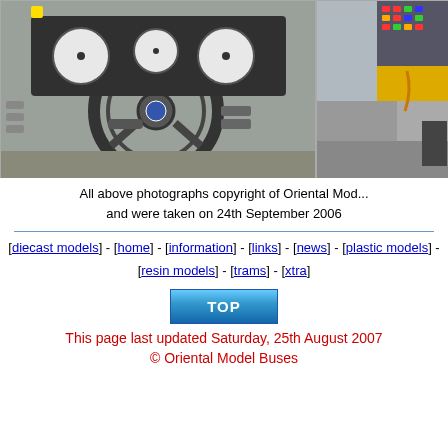[Figure (photo): Bus interior showing steering wheel with Scania logo, dashboard with gauges and controls, dark grey interior]
[Figure (photo): Bus interior right side showing yellow and grey panels, step area]
All above photographs copyright of Oriental Mod... and were taken on 24th September 2006
[diecast models] - [home] - [information] - [links] - [news] - [plastic models] - [resin models] - [trams] - [xtra]
[Figure (other): TOP button - blue gradient button with text TOP]
This page last updated Saturday, 25th August 2007
© Oriental Model Buses